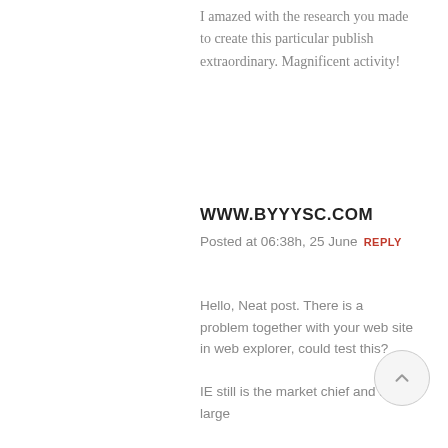I amazed with the research you made to create this particular publish extraordinary. Magnificent activity!
WWW.BYYYSC.COM
Posted at 06:38h, 25 June REPLY
Hello, Neat post. There is a problem together with your web site in web explorer, could test this? IE still is the market chief and a large